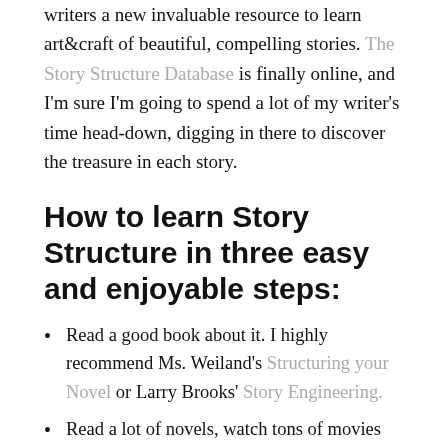writers a new invaluable resource to learn art&craft of beautiful, compelling stories. The Story Structure Database is finally online, and I'm sure I'm going to spend a lot of my writer's time head-down, digging in there to discover the treasure in each story.
How to learn Story Structure in three easy and enjoyable steps:
Read a good book about it. I highly recommend Ms. Weiland's Structuring your Novel or Larry Brooks' Story Engineering.
Read a lot of novels, watch tons of movies